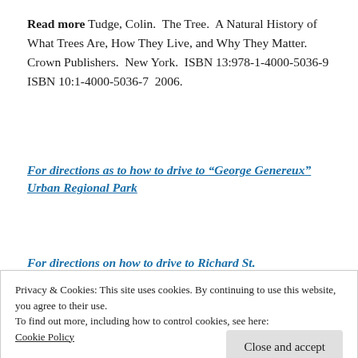Read more Tudge, Colin.  The Tree.  A Natural History of What Trees Are, How They Live, and Why They Matter.  Crown Publishers.  New York.  ISBN 13:978-1-4000-5036-9  ISBN 10:1-4000-5036-7  2006.
For directions as to how to drive to “George Genereux” Urban Regional Park
For directions on how to drive to Richard St.
Privacy & Cookies: This site uses cookies. By continuing to use this website, you agree to their use.
To find out more, including how to control cookies, see here: Cookie Policy
Close and accept
Bialmore Sector Plan Report, planning for the